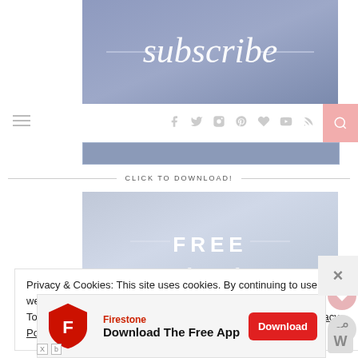[Figure (illustration): Subscribe banner with handwritten white script text on blue-grey watercolor background]
[Figure (illustration): Navigation bar with hamburger menu, social icons (f, twitter, instagram, pinterest, heart, youtube, rss), and pink search button]
[Figure (illustration): Blue-grey horizontal bar (bottom of header area)]
CLICK TO DOWNLOAD!
[Figure (illustration): Free download banner with soft blue-grey watercolor background and white text reading FREE]
Privacy & Cookies: This site uses cookies. By continuing to use this website, you agree to their use.
To find out more, including how to control cookies, see here: Privacy Policy
[Figure (illustration): Firestone Download The Free App advertisement banner with red shield logo and Download button]